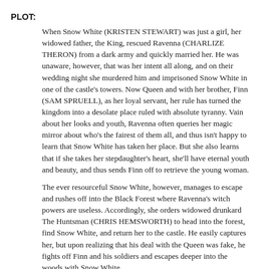PLOT:
When Snow White (KRISTEN STEWART) was just a girl, her widowed father, the King, rescued Ravenna (CHARLIZE THERON) from a dark army and quickly married her. He was unaware, however, that was her intent all along, and on their wedding night she murdered him and imprisoned Snow White in one of the castle's towers. Now Queen and with her brother, Finn (SAM SPRUELL), as her loyal servant, her rule has turned the kingdom into a desolate place ruled with absolute tyranny. Vain about her looks and youth, Ravenna often queries her magic mirror about who's the fairest of them all, and thus isn't happy to learn that Snow White has taken her place. But she also learns that if she takes her stepdaughter's heart, she'll have eternal youth and beauty, and thus sends Finn off to retrieve the young woman.
The ever resourceful Snow White, however, manages to escape and rushes off into the Black Forest where Ravenna's witch powers are useless. Accordingly, she orders widowed drunkard The Huntsman (CHRIS HEMSWORTH) to head into the forest, find Snow White, and return her to the castle. He easily captures her, but upon realizing that his deal with the Queen was fake, he fights off Finn and his soldiers and escapes deeper into the woods with Snow White.